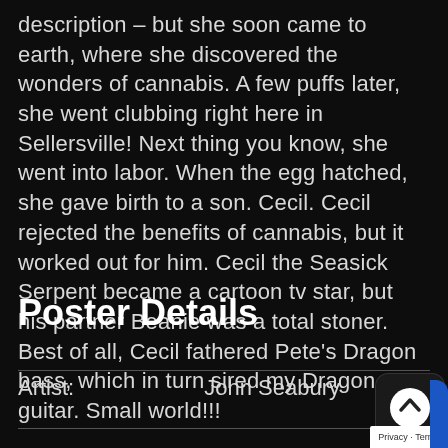description – but she soon came to earth, where she discovered the wonders of cannabis. A few puffs later, she went clubbing right here in Sellersville! Next thing you know, she went into labor. When the egg hatched, she gave birth to a son. Cecil. Cecil rejected the benefits of cannabis, but it worked out for him. Cecil the Seasick Serpent became a cartoon tv star, but his partner Beanie was a total stoner. Best of all, Cecil fathered Pete's Dragon bass, which in turn sired my Dragon guitar. Small world!!!
Poster Details
| Artist: | John Seabury |
| --- | --- |